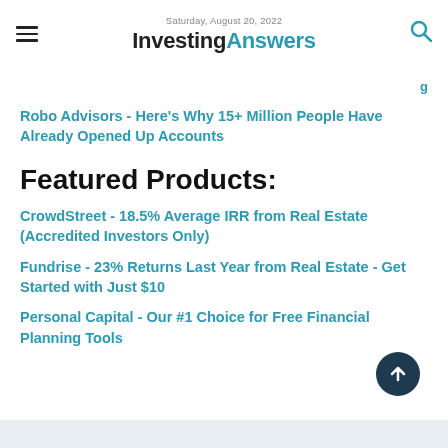Saturday, August 20, 2022 — InvestingAnswers
Robo Advisors - Here's Why 15+ Million People Have Already Opened Up Accounts
Featured Products:
CrowdStreet - 18.5% Average IRR from Real Estate (Accredited Investors Only)
Fundrise - 23% Returns Last Year from Real Estate - Get Started with Just $10
Personal Capital - Our #1 Choice for Free Financial Planning Tools